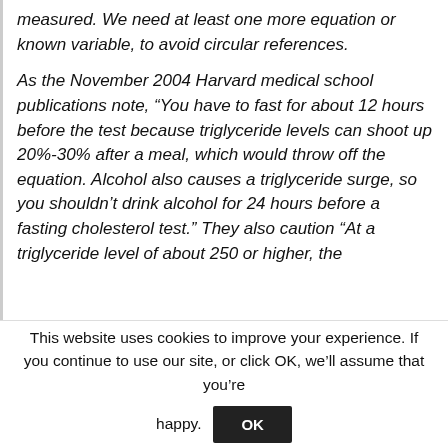with four variables, only the 3 which can be measured. We need at least one more equation or known variable, to avoid circular references.
As the November 2004 Harvard medical school publications note, “You have to fast for about 12 hours before the test because triglyceride levels can shoot up 20%-30% after a meal, which would throw off the equation. Alcohol also causes a triglyceride surge, so you shouldn’t drink alcohol for 24 hours before a fasting cholesterol test.” They also caution “At a triglyceride level of about 250 or higher, the
This website uses cookies to improve your experience. If you continue to use our site, or click OK, we’ll assume that you’re happy.